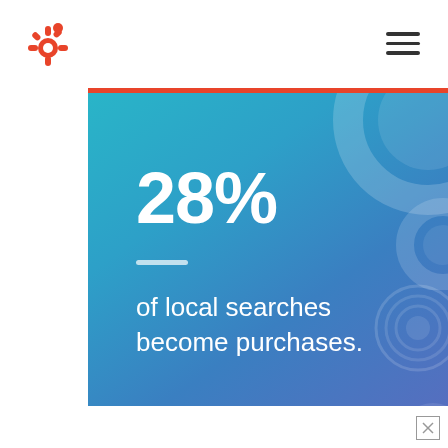[Figure (logo): HubSpot sprocket logo in orange, top left]
[Figure (infographic): Teal-to-blue gradient infographic card with decorative concentric circles. Large bold text '28%' followed by a white divider line and the text 'of local searches become purchases.']
HubSpot